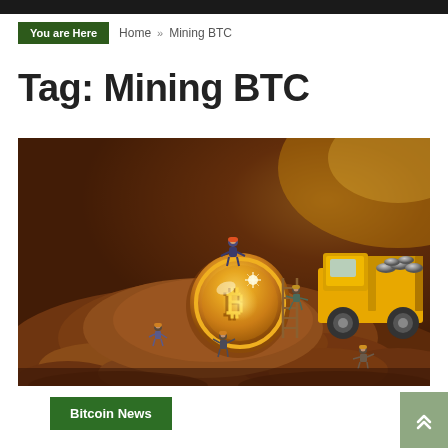You are Here  Home » Mining BTC
Tag: Mining BTC
[Figure (photo): Miniature figurines of workers mining a large golden Bitcoin coin on a mound of dirt, with a yellow toy dump truck filled with coins in the background. Warm brown tones throughout.]
Bitcoin News